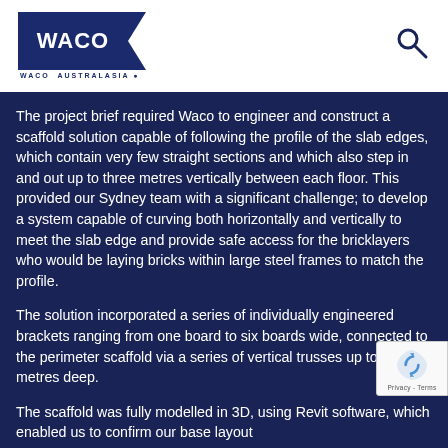[Figure (logo): Waco Australasia logo — dark navy rectangle with WACO text and arrow chevron, with WACO AUSTRALASIA text below]
The project brief required Waco to engineer and construct a scaffold solution capable of following the profile of the slab edges, which contain very few straight sections and which also step in and out up to three metres vertically between each floor. This provided our Sydney team with a significant challenge; to develop a system capable of curving both horizontally and vertically to meet the slab edge and provide safe access for the bricklayers who would be laying bricks within large steel frames to match the profile.
The solution incorporated a series of individually engineered brackets ranging from one board to six boards wide, connected to the perimeter scaffold via a series of vertical trusses up to 1.5 metres deep.
The scaffold was fully modelled in 3D, using Revit software, which enabled us to confirm our base layout